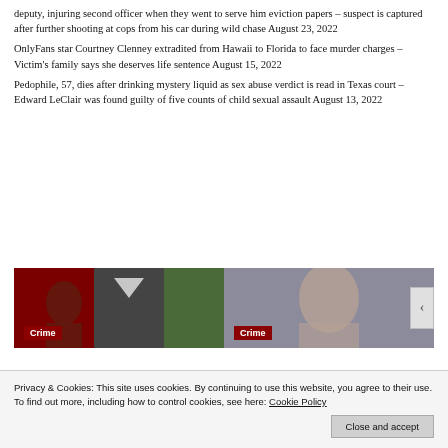deputy, injuring second officer when they went to serve him eviction papers – suspect is captured after further shooting at cops from his car during wild chase August 23, 2022
OnlyFans star Courtney Clenney extradited from Hawaii to Florida to face murder charges – Victim's family says she deserves life sentence August 15, 2022
Pedophile, 57, dies after drinking mystery liquid as sex abuse verdict is read in Texas court – Edward LeClair was found guilty of five counts of child sexual assault August 13, 2022
[Figure (photo): Two crime news thumbnail images side by side with dark navy background, each labeled 'Crime' with a red badge overlay]
Privacy & Cookies: This site uses cookies. By continuing to use this website, you agree to their use.
To find out more, including how to control cookies, see here: Cookie Policy